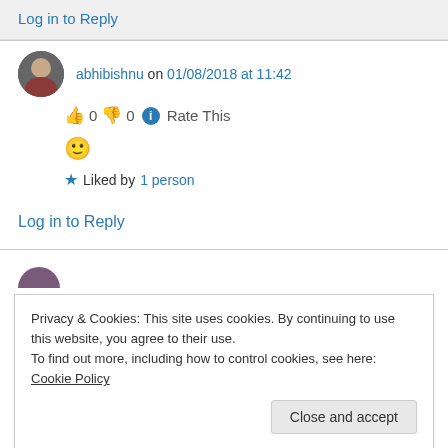Log in to Reply
abhibishnu on 01/08/2018 at 11:42
👍 0 👎 0 ℹ Rate This
🙂
★ Liked by 1 person
Log in to Reply
Privacy & Cookies: This site uses cookies. By continuing to use this website, you agree to their use.
To find out more, including how to control cookies, see here: Cookie Policy
Close and accept